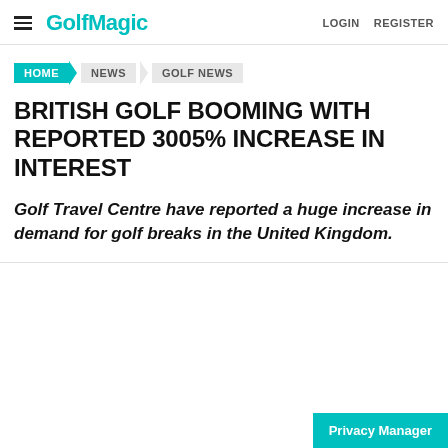GolfMagic LOGIN REGISTER
HOME NEWS GOLF NEWS
BRITISH GOLF BOOMING WITH REPORTED 3005% INCREASE IN INTEREST
Golf Travel Centre have reported a huge increase in demand for golf breaks in the United Kingdom.
Privacy Manager